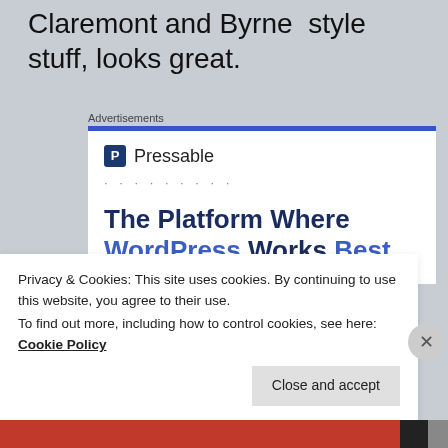Claremont and Byrne  style stuff, looks great.
Advertisements
[Figure (screenshot): Pressable advertisement showing logo, dots, and headline 'The Platform Where WordPress Works Best']
Privacy & Cookies: This site uses cookies. By continuing to use this website, you agree to their use.
To find out more, including how to control cookies, see here: Cookie Policy
Close and accept